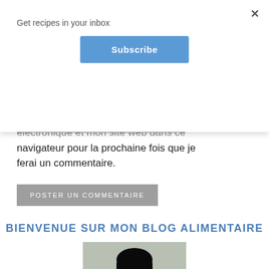Get recipes in your inbox
Subscribe
électronique et mon site web dans ce navigateur pour la prochaine fois que je ferai un commentaire.
POSTER UN COMMENTAIRE
BIENVENUE SUR MON BLOG ALIMENTAIRE
[Figure (photo): Portrait photo of a woman with long dark hair]